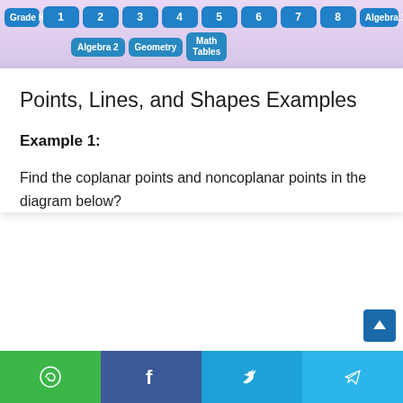Grade K  1  2  3  4  5  6  7  8  Algebra 1  Algebra 2  Geometry  Math Tables
Points, Lines, and Shapes Examples
Example 1:
Find the coplanar points and noncoplanar points in the diagram below?
WhatsApp  Facebook  Twitter  Telegram